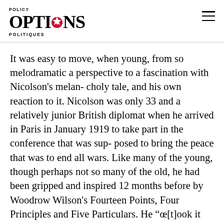POLICY OPTIONS POLITIQUES
It was easy to move, when young, from so melodramatic a perspective to a fascination with Nicolson's melan- choly tale, and his own reaction to it. Nicolson was only 33 and a relatively junior British diplomat when he arrived in Paris in January 1919 to take part in the conference that was sup- posed to bring the peace that was to end all wars. Like many of the young, though perhaps not so many of the old, he had been gripped and inspired 12 months before by Woodrow Wilson's Fourteen Points, Four Principles and Five Particulars. He “œ[t]ook it for